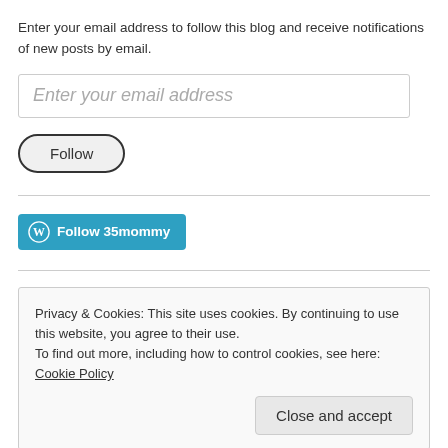Enter your email address to follow this blog and receive notifications of new posts by email.
[Figure (screenshot): Email address input field with placeholder text 'Enter your email address']
[Figure (screenshot): Follow button with rounded pill shape and dark border]
[Figure (screenshot): Blue WordPress Follow 35mommy button with WordPress logo icon]
Privacy & Cookies: This site uses cookies. By continuing to use this website, you agree to their use.
To find out more, including how to control cookies, see here: Cookie Policy
[Figure (screenshot): Close and accept button]
Facebook